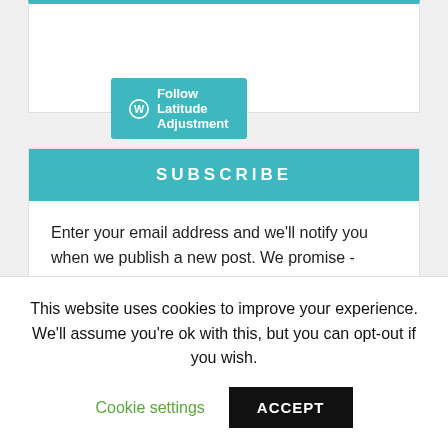[Figure (other): Follow Latitude Adjustment button with WordPress icon on teal background]
SUBSCRIBE
Enter your email address and we'll notify you when we publish a new post. We promise - Scout's honor - we'll never share your email with anyone.
This website uses cookies to improve your experience. We'll assume you're ok with this, but you can opt-out if you wish.
Cookie settings
ACCEPT